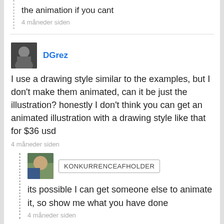the animation if you cant
4 måneder siden
DGrez
I use a drawing style similar to the examples, but I don't make them animated, can it be just the illustration? honestly I don't think you can get an animated illustration with a drawing style like that for $36 usd
4 måneder siden
KONKURRENCEAFHOLDER
its possible I can get someone else to animate it, so show me what you have done
4 måneder siden